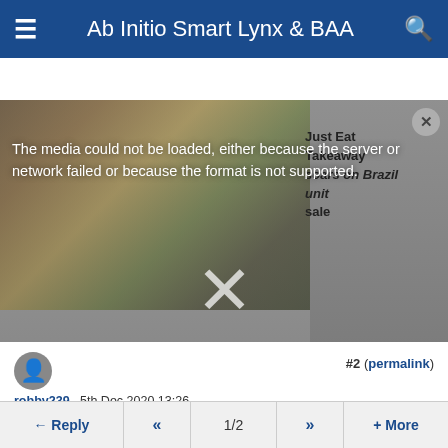Ab Initio Smart Lynx & BAA
[Figure (screenshot): Media player showing food images with an error overlay: 'The media could not be loaded, either because the server or network failed or because the format is not supported.' with a large X symbol. Behind it is text 'Just Eat Takeaway soars on Brazil unit sale' and a circular close button.]
#2 (permalink)
robby239 , 5th Dec 2020 13:26
it is an absolute scam, stay away
Reply  «  1/2  »  + More